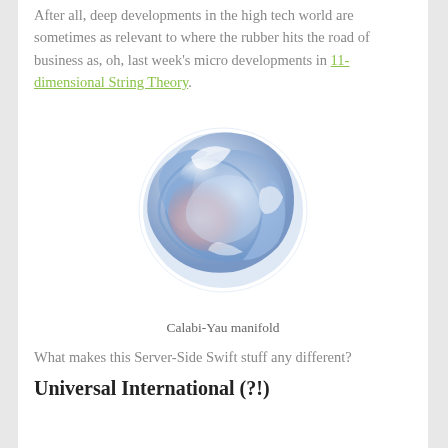After all, deep developments in the high tech world are sometimes as relevant to where the rubber hits the road of business as, oh, last week's micro developments in 11-dimensional String Theory.
[Figure (illustration): A 3D rendering of a Calabi-Yau manifold, a complex twisted torus-like shape with blue, silver, and pink gradient coloring on a white background.]
Calabi-Yau manifold
What makes this Server-Side Swift stuff any different?
Universal International (?!)